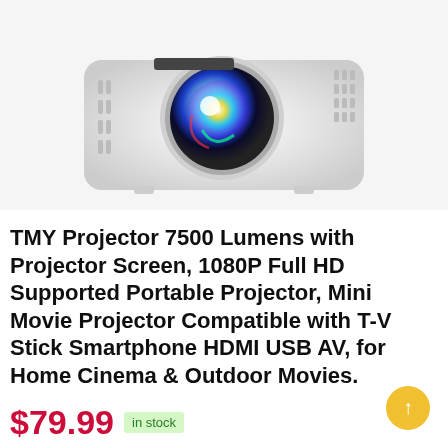[Figure (photo): White mini projector with colorful lens, shown from a front-angle view on white background]
TMY Projector 7500 Lumens with Projector Screen, 1080P Full HD Supported Portable Projector, Mini Movie Projector Compatible with T-V Stick Smartphone HDMI USB AV, for Home Cinema & Outdoor Movies.
$79.99  in stock
3 new from $79.99
Free shipping